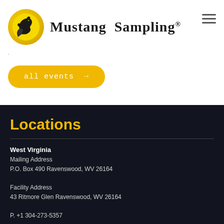[Figure (logo): Mustang Sampling logo with horse head in yellow circle and bold serif brand name]
·
all events →
Locations
West Virginia
Mailing Address
P.O. Box 490 Ravenswood, WV 26164

Facility Address
43 Ritmore Glen Ravenswood, WV 26164

P. +1 304-273-5357